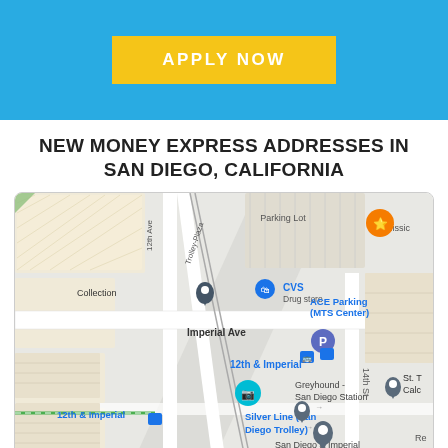[Figure (other): Blue banner with yellow 'APPLY NOW' button]
NEW MONEY EXPRESS ADDRESSES IN SAN DIEGO, CALIFORNIA
[Figure (map): Google Maps view of San Diego area near 12th & Imperial Transit Center, showing CVS Drug store, ACE Parking (MTS Center), Greyhound San Diego Station, Silver Line (San Diego Trolley), San Diego & Imperial Valley Railroad, 12th Ave, Trolley-Plaza, 14th St, and Imperial Ave.]